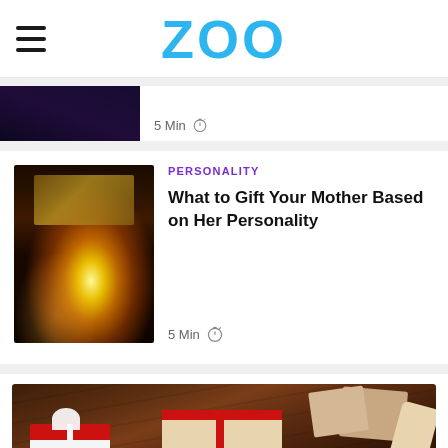ZOO
[Figure (screenshot): Partially visible card with dark-themed image on left and '5 Min' timer meta on right]
[Figure (photo): Glowing open gift box with golden sparkling light effect on dark background]
PERSONALITY
What to Gift Your Mother Based on Her Personality
5 Min
[Figure (photo): Gift wrapped boxes with red ribbons and bows on a dark wooden table background, viewed from above]